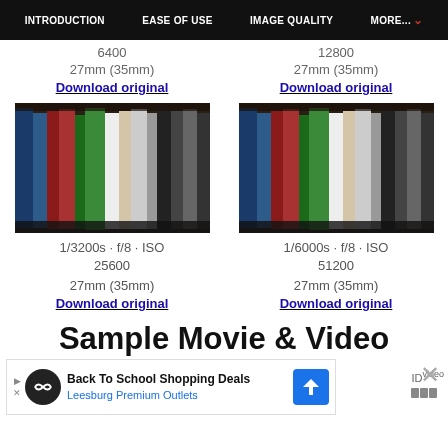INTRODUCTION | EASE OF USE | IMAGE QUALITY | MORE...
6400
27mm (35mm)
Download original
12800
27mm (35mm)
Download original
[Figure (photo): Photo of bookshelf with colorful books at ISO 25600]
1/3200s · f/8 · ISO 25600
27mm (35mm)
Download original
[Figure (photo): Photo of bookshelf with colorful books at ISO 51200]
1/6000s · f/8 · ISO 51200
27mm (35mm)
Download original
Sample Movie & Video
Back To School Shopping Deals
Leesburg Premium Outlets